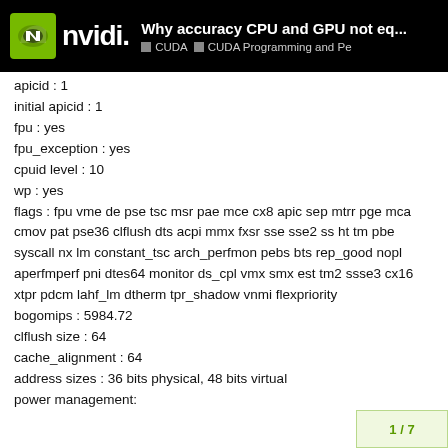Why accuracy CPU and GPU not eq... | CUDA | CUDA Programming and Pe
apicid : 1
initial apicid : 1
fpu : yes
fpu_exception : yes
cpuid level : 10
wp : yes
flags : fpu vme de pse tsc msr pae mce cx8 apic sep mtrr pge mca cmov pat pse36 clflush dts acpi mmx fxsr sse sse2 ss ht tm pbe syscall nx lm constant_tsc arch_perfmon pebs bts rep_good nopl aperfmperf pni dtes64 monitor ds_cpl vmx smx est tm2 ssse3 cx16 xtpr pdcm lahf_lm dtherm tpr_shadow vnmi flexpriority
bogomips : 5984.72
clflush size : 64
cache_alignment : 64
address sizes : 36 bits physical, 48 bits virtual
power management: